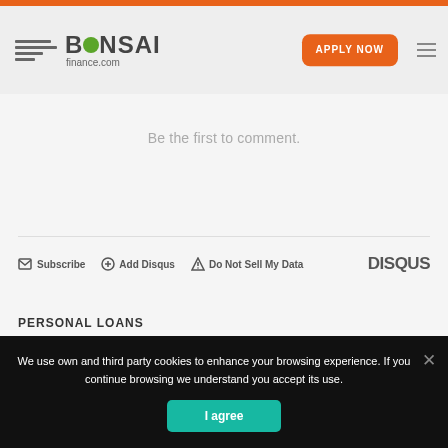BONSAI finance.com
Be the first to comment.
Subscribe  Add Disqus  Do Not Sell My Data  DISQUS
PERSONAL LOANS
We use own and third party cookies to enhance your browsing experience. If you continue browsing we understand you accept its use.